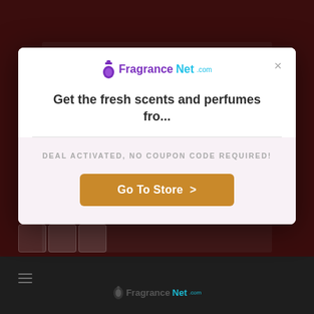[Figure (screenshot): Dark background showing a website behind a modal popup. Bottom bar shows FragranceNet.com logo.]
[Figure (screenshot): Modal popup dialog with FragranceNet.com logo, close button (X), headline text, divider, deal activation message, and Go To Store button.]
Get the fresh scents and perfumes fro...
DEAL ACTIVATED, NO COUPON CODE REQUIRED!
Go To Store >